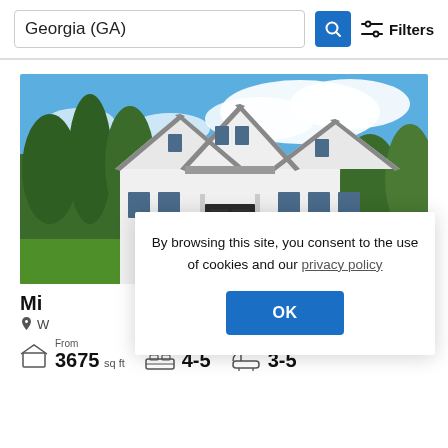Georgia (GA)
[Figure (photo): Exterior photo of a large white modern farmhouse with three gabled peaks, blue sky with white clouds, green trees surrounding the property]
Mi
W
From 3675 sq ft   4-5   3-5
By browsing this site, you consent to the use of cookies and our privacy policy
OK